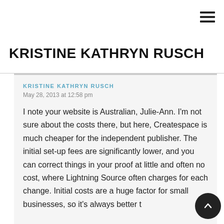≡ (menu icon)
KRISTINE KATHRYN RUSCH
KRISTINE KATHRYN RUSCH
May 28, 2013 at 12:58 pm
I note your website is Australian, Julie-Ann. I'm not sure about the costs there, but here, Createspace is much cheaper for the independent publisher. The initial set-up fees are significantly lower, and you can correct things in your proof at little and often no cost, where Lightning Source often charges for each change. Initial costs are a huge factor for small businesses, so it's always better to